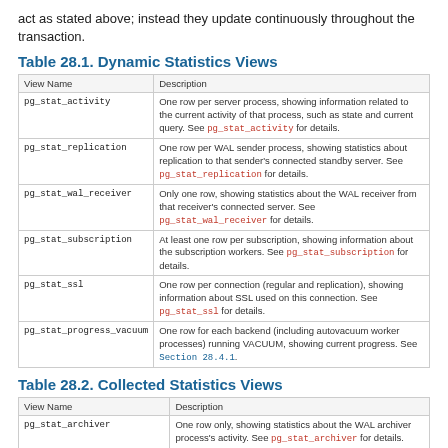act as stated above; instead they update continuously throughout the transaction.
Table 28.1. Dynamic Statistics Views
| View Name | Description |
| --- | --- |
| pg_stat_activity | One row per server process, showing information related to the current activity of that process, such as state and current query. See pg_stat_activity for details. |
| pg_stat_replication | One row per WAL sender process, showing statistics about replication to that sender's connected standby server. See pg_stat_replication for details. |
| pg_stat_wal_receiver | Only one row, showing statistics about the WAL receiver from that receiver's connected server. See pg_stat_wal_receiver for details. |
| pg_stat_subscription | At least one row per subscription, showing information about the subscription workers. See pg_stat_subscription for details. |
| pg_stat_ssl | One row per connection (regular and replication), showing information about SSL used on this connection. See pg_stat_ssl for details. |
| pg_stat_progress_vacuum | One row for each backend (including autovacuum worker processes) running VACUUM, showing current progress. See Section 28.4.1. |
Table 28.2. Collected Statistics Views
| View Name | Description |
| --- | --- |
| pg_stat_archiver | One row only, showing statistics about the WAL archiver process's activity. See pg_stat_archiver for details. |
| pg_stat_bgwriter | One row only, showing statistics about the background writer process's activity. See pg_stat_bgwriter for details. |
| pg_stat_database | One row per database, showing database-wide statistics. See pg_stat_database for details. |
| pg_stat_database_conflicts | One row per database, showing database-wide statistics about query cancels due to conflicts with recovery on this database. See pg_stat_database_conflicts for details. |